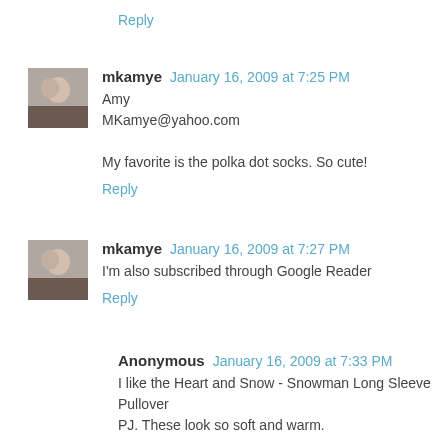Reply
mkamye  January 16, 2009 at 7:25 PM
Amy
MKamye@yahoo.com

My favorite is the polka dot socks. So cute!
Reply
mkamye  January 16, 2009 at 7:27 PM
I'm also subscribed through Google Reader
Reply
Anonymous  January 16, 2009 at 7:33 PM
I like the Heart and Snow - Snowman Long Sleeve Pullover PJ. These look so soft and warm.